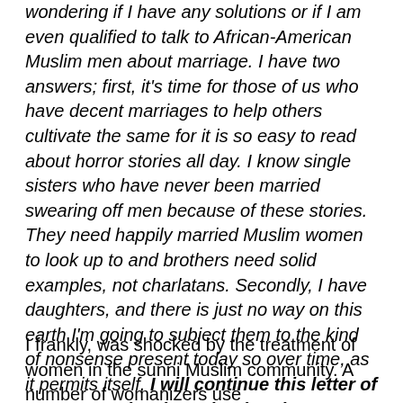wondering if I have any solutions or if I am even qualified to talk to African-American Muslim men about marriage. I have two answers; first, it's time for those of us who have decent marriages to help others cultivate the same for it is so easy to read about horror stories all day. I know single sisters who have never been married swearing off men because of these stories. They need happily married Muslim women to look up to and brothers need solid examples, not charlatans. Secondly, I have daughters, and there is just no way on this earth I'm going to subject them to the kind of nonsense present today so over time, as it permits itself, I will continue this letter of sorts to my brothers, hoping that someone out there heeds the call to be more and do more without wanting more.
I frankly, was shocked by the treatment of women in the sunni Muslim community. A number of womanizers use